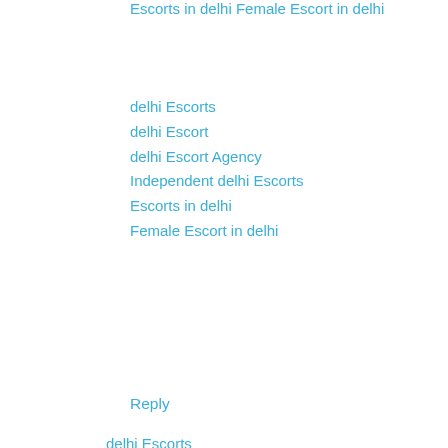Escorts in delhi
Female Escort in delhi
delhi Escorts
delhi Escort
delhi Escort Agency
Independent delhi Escorts
Escorts in delhi
Female Escort in delhi
Reply
Unknown May 6, 2015 at 12:07 AM
Hello my master friend I am Anisa Sethi someone 25 year old matchless Goa Escorts extending Escorts services in Delhi and top class company services at your door step. In my city i found that lots of Delhi Escorts are there to give the character of escorts service to you but i am little unlike center on to execute with deep gratification. Until you don't get satisfy you will not recommend me in futurity.
See My Partners website for future bookings:
delhi Escorts